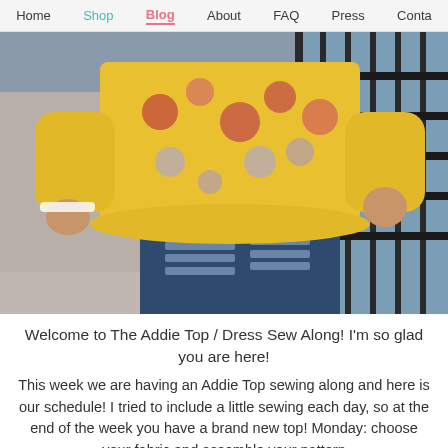Home  Shop  Blog  About  FAQ  Press  Conta
[Figure (photo): Person wearing a yellow floral peplum top with long sleeves and distressed dark blue jeans, standing outdoors near a metal fence with water in the background.]
Welcome to The Addie Top / Dress Sew Along! I'm so glad you are here!
This week we are having an Addie Top sewing along and here is our schedule! I tried to include a little sewing each day, so at the end of the week you have a brand new top! Monday: choose your fabric and assemble your pattern